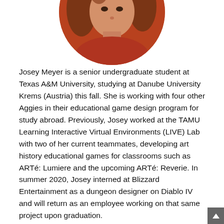[Figure (photo): Circular cropped portrait photo of Josey Meyer, a woman with reddish-brown hair wearing a red top, shown from shoulders up against white background]
Josey Meyer is a senior undergraduate student at Texas A&M University, studying at Danube University Krems (Austria) this fall. She is working with four other Aggies in their educational game design program for study abroad. Previously, Josey worked at the TAMU Learning Interactive Virtual Environments (LIVE) Lab with two of her current teammates, developing art history educational games for classrooms such as ARTé: Lumiere and the upcoming ARTé: Reverie. In summer 2020, Josey interned at Blizzard Entertainment as a dungeon designer on Diablo IV and will return as an employee working on that same project upon graduation.